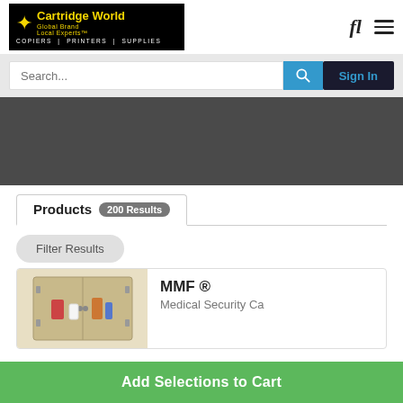[Figure (logo): Cartridge World logo - black background with yellow star and text: Cartridge World | Global Brand Local Experts, COPIERS | PRINTERS | SUPPLIES]
Search...
Sign In
Products 200 Results
Filter Results
MMF ®
Medical Security Ca
Add Selections to Cart